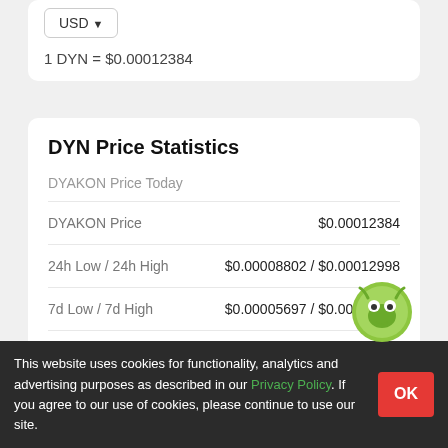USD
1 DYN = $0.00012384
DYN Price Statistics
DYAKON Price Today
|  |  |
| --- | --- |
| DYAKON Price | $0.00012384 |
| 24h Low / 24h High | $0.00008802 / $0.00012998 |
| 7d Low / 7d High | $0.00005697 / $0.00012987 |
| Trading Volume | $17,… |
This website uses cookies for functionality, analytics and advertising purposes as described in our Privacy Policy. If you agree to our use of cookies, please continue to use our site.